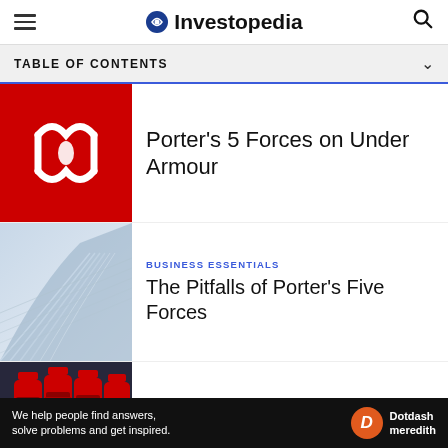Investopedia
TABLE OF CONTENTS
[Figure (illustration): Under Armour logo on red background - white stylized UA logo]
Porter's 5 Forces on Under Armour
[Figure (photo): Modern glass building architecture, curved glass panels]
BUSINESS ESSENTIALS
The Pitfalls of Porter's Five Forces
[Figure (photo): Row of Coca-Cola bottles on store shelf]
COMPANY PROFILES
How Coca-Cola Stacks Up Against Its Competition
We help people find answers, solve problems and get inspired.
Dotdash meredith